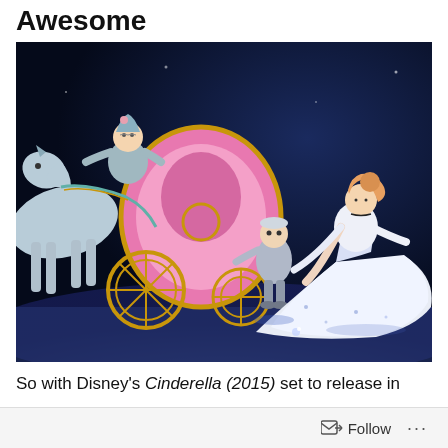Awesome
[Figure (illustration): Disney animated Cinderella scene showing Cinderella in her white ball gown approaching a pink carriage with her fairy godmother and a small footman character, set against a dark night blue background]
So with Disney's Cinderella (2015) set to release in
Follow ...